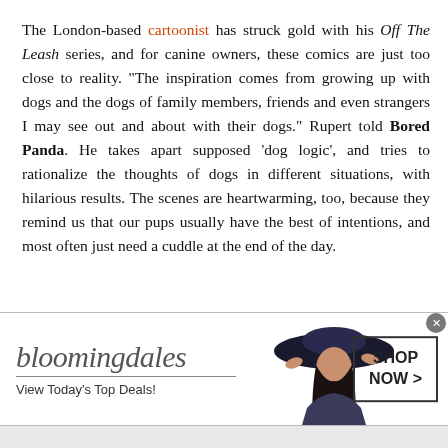The London-based cartoonist has struck gold with his Off The Leash series, and for canine owners, these comics are just too close to reality. "The inspiration comes from growing up with dogs and the dogs of family members, friends and even strangers I may see out and about with their dogs." Rupert told Bored Panda. He takes apart supposed 'dog logic', and tries to rationalize the thoughts of dogs in different situations, with hilarious results. The scenes are heartwarming, too, because they remind us that our pups usually have the best of intentions, and most often just need a cuddle at the end of the day.
[Figure (screenshot): Bloomingdale's advertisement banner showing logo, 'View Today's Top Deals!' text, a woman in a wide-brim hat, and a 'SHOP NOW >' button]